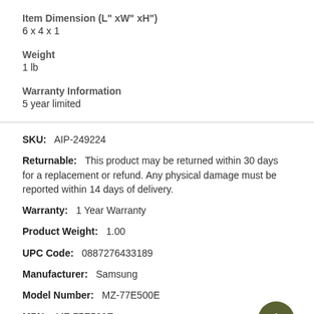Item Dimension (L" xW" xH")
6 x 4 x 1
Weight
1 lb
Warranty Information
5 year limited
SKU:   AIP-249224
Returnable:   This product may be returned within 30 days for a replacement or refund. Any physical damage must be reported within 14 days of delivery.
Warranty:   1 Year Warranty
Product Weight:   1.00
UPC Code:   0887276433189
Manufacturer:   Samsung
Model Number:   MZ-77E500E
MPN:   MZ-77E500E
Condition:   New